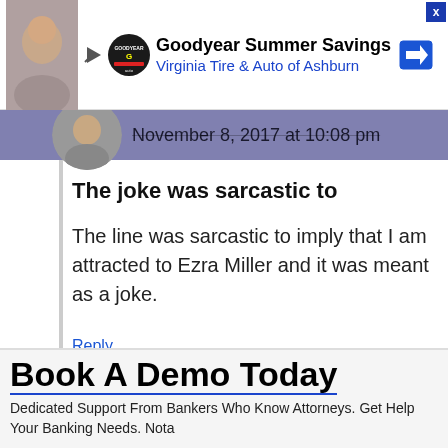[Figure (screenshot): Goodyear Summer Savings ad banner with Virginia Tire & Auto of Ashburn, play button, logo, and arrow sign]
November 8, 2017 at 10:08 pm
The joke was sarcastic to
The line was sarcastic to imply that I am attracted to Ezra Miller and it was meant as a joke.
Reply
Denzel
[Figure (screenshot): Book A Demo Today ad - Dedicated Support From Bankers Who Know Attorneys. Get Help Your Banking Needs. Nota]